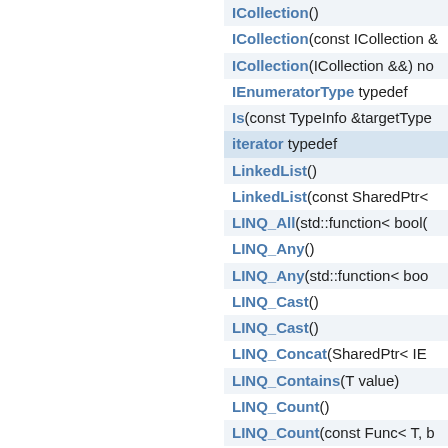ICollection()
ICollection(const ICollection &
ICollection(ICollection &&) no
IEnumeratorType typedef
Is(const TypeInfo &targetType
iterator typedef
LinkedList()
LinkedList(const SharedPtr<
LINQ_All(std::function< bool(
LINQ_Any()
LINQ_Any(std::function< boo
LINQ_Cast()
LINQ_Cast()
LINQ_Concat(SharedPtr< IE
LINQ_Contains(T value)
LINQ_Count()
LINQ_Count(const Func< T, b
LINQ_ElementAt(int index)
LINQ_First()